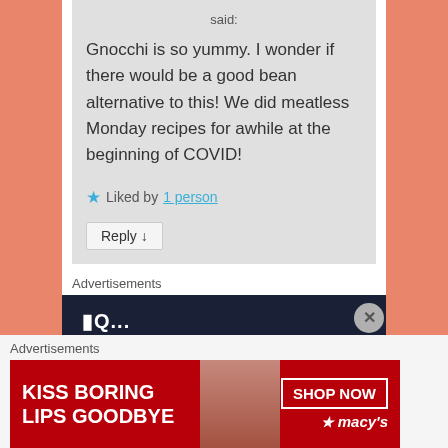said:
Gnocchi is so yummy. I wonder if there would be a good bean alternative to this! We did meatless Monday recipes for awhile at the beginning of COVID!
Liked by 1 person
Reply ↓
Advertisements
Advertisements
[Figure (screenshot): Macy's advertisement: KISS BORING LIPS GOODBYE with SHOP NOW button and Macy's logo]